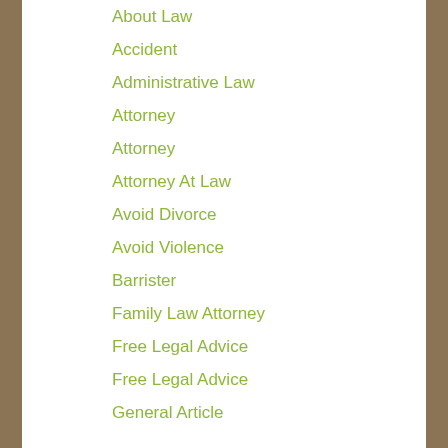About Law
Accident
Administrative Law
Attorney
Attorney
Attorney At Law
Avoid Divorce
Avoid Violence
Barrister
Family Law Attorney
Free Legal Advice
Free Legal Advice
General Article